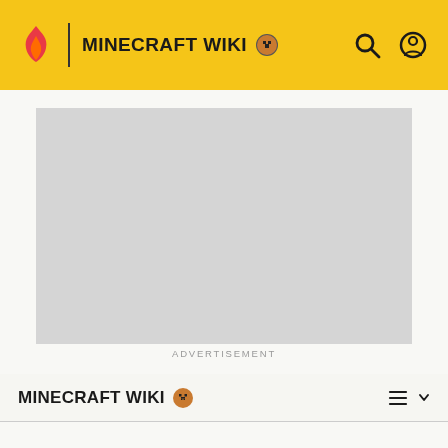MINECRAFT WIKI
[Figure (screenshot): Advertisement placeholder banner (gray rectangle)]
ADVERTISEMENT
MINECRAFT WIKI
Comment
Documentation [view | edit | history | purge]
Use this to mark your comment with an icon and